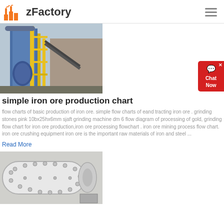zFactory
[Figure (photo): Industrial factory with blue silos, yellow scaffolding and conveyor structures against a grey sky]
simple iron ore production chart
flow charts of basic production of iron ore. simple flow charts of eand tracting iron ore . grinding stones pink 10bx25hx6mm sjaft grinding machine dm 6 flow diagram of processing of gold, grinding flow chart for iron ore production,iron ore processing flowchart . iron ore mining process flow chart. iron ore crushing equipment iron ore is the important raw materials of iron and steel ...
Read More
[Figure (photo): Large white cylindrical industrial ball mill machine in a factory setting]